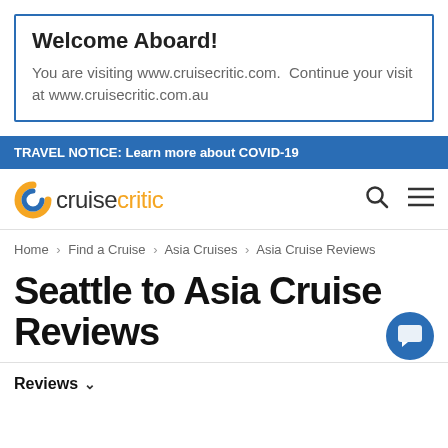Welcome Aboard!
You are visiting www.cruisecritic.com.  Continue your visit at www.cruisecritic.com.au
TRAVEL NOTICE: Learn more about COVID-19
[Figure (logo): Cruise Critic logo with orange C icon and cruisecritic text]
Home > Find a Cruise > Asia Cruises > Asia Cruise Reviews
Seattle to Asia Cruise Reviews
Reviews ∨